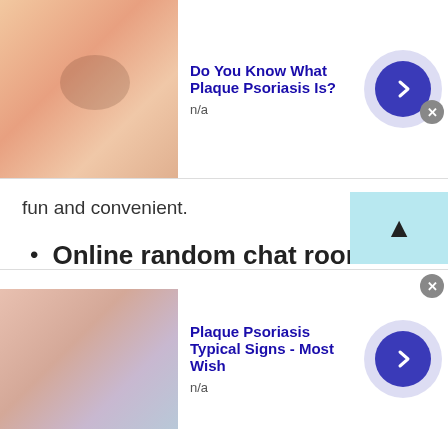[Figure (screenshot): Top advertisement banner: image of skin on left, bold blue title 'Do You Know What Plaque Psoriasis Is?', n/a subtext, blue arrow button on right with close X button]
fun and convenient.
Online random chat rooms without any registration
TWS offers all of the listed online chat rooms without any registration. If you are tired of using other online chatting sites where you need to get registered first then nothing to worry about. Talkwithstranger app can be a great alternative site for you. Yes, you can talk to strangers in Peru and
[Figure (screenshot): Bottom advertisement banner: image of skin condition on left, bold blue title 'Plaque Psoriasis Typical Signs - Most Wish', n/a subtext, blue arrow button on right with close X button]